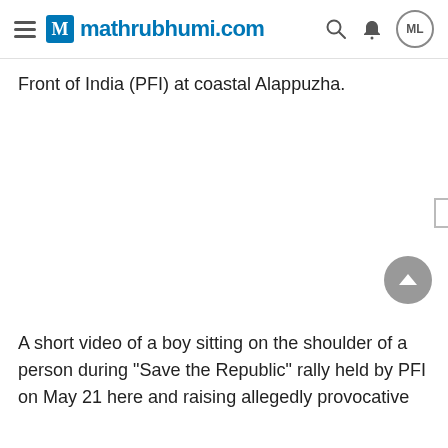mathrubhumi.com
Front of India (PFI) at coastal Alappuzha.
[Figure (other): Advertisement / blank white space area]
A short video of a boy sitting on the shoulder of a person during "Save the Republic" rally held by PFI on May 21 here and raising allegedly provocative